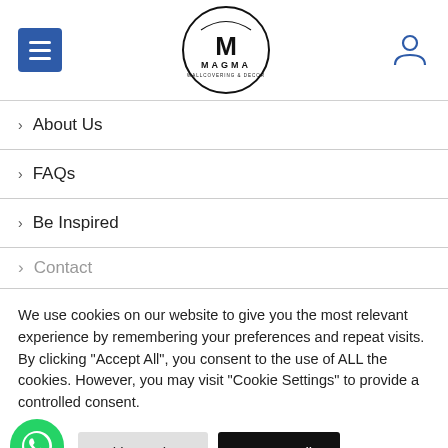[Figure (logo): Magma Wallcovering & Decor logo — bold M inside a circle with brand name below]
About Us
FAQs
Be Inspired
Contact
We use cookies on our website to give you the most relevant experience by remembering your preferences and repeat visits. By clicking "Accept All", you consent to the use of ALL the cookies. However, you may visit "Cookie Settings" to provide a controlled consent.
Cookie Settings | Accept All